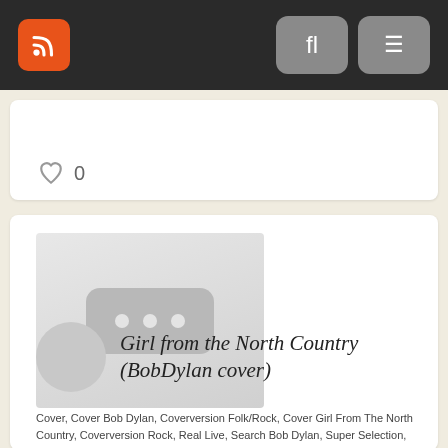RSS feed navigation bar with search and menu buttons
[Figure (other): Partial card showing a like/heart icon with count 0]
[Figure (photo): Album/media thumbnail placeholder with three dots icon]
Girl from the North Country (BobDylan cover)
Cover, Cover Bob Dylan, Coverversion Folk/Rock, Cover Girl From The North Country, Coverversion Rock, Real Live, Search Bob Dylan, Super Selection,